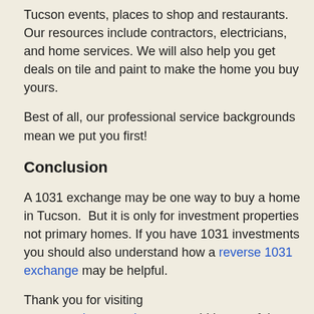Tucson events, places to shop and restaurants. Our resources include contractors, electricians, and home services. We will also help you get deals on tile and paint to make the home you buy yours.
Best of all, our professional service backgrounds mean we put you first!
Conclusion
A 1031 exchange may be one way to buy a home in Tucson.  But it is only for investment properties not primary homes. If you have 1031 investments you should also understand how a reverse 1031 exchange may be helpful.
Thank you for visiting www.premiertucsonhomes.com! It's one of the top real estate websites in Tucson. Our clients say that, not us.
Our website provides information on communities and